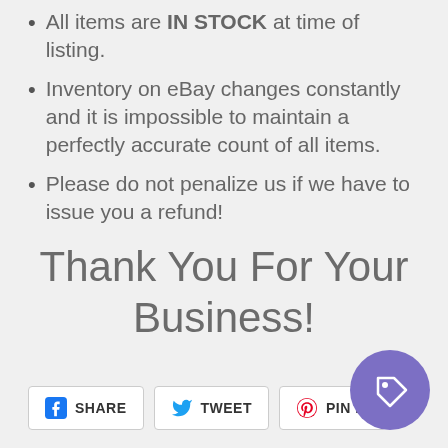All items are IN STOCK at time of listing.
Inventory on eBay changes constantly and it is impossible to maintain a perfectly accurate count of all items.
Please do not penalize us if we have to issue you a refund!
Thank You For Your Business!
SHARE  TWEET  PIN IT